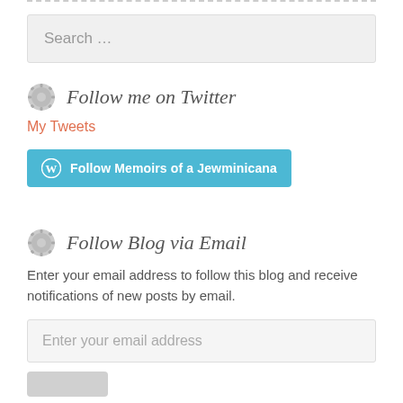[Figure (other): Search input field with placeholder text 'Search ...']
Follow me on Twitter
My Tweets
[Figure (other): Button: Follow Memoirs of a Jewminicana (WordPress follow button, teal/blue background)]
Follow Blog via Email
Enter your email address to follow this blog and receive notifications of new posts by email.
[Figure (other): Email input field with placeholder 'Enter your email address']
[Figure (other): Partially visible grey follow button at the bottom]